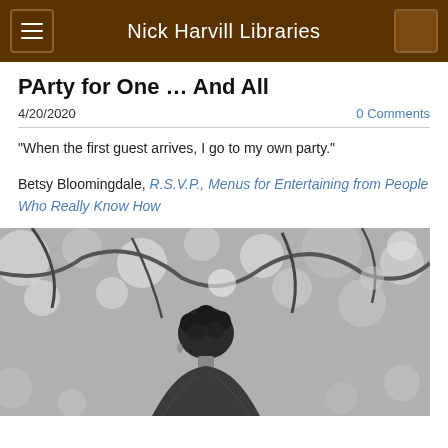Nick Harvill Libraries
PArty for One … And All
4/20/2020
0 Comments
“When the first guest arrives, I go to my own party.”
Betsy Bloomingdale, R.S.V.P., Menus for Entertaining from People Who Really Know How
[Figure (photo): Black and white photograph of a person with curly/wavy hair viewed from behind, surrounded by bokeh tree branches and foliage in the background.]